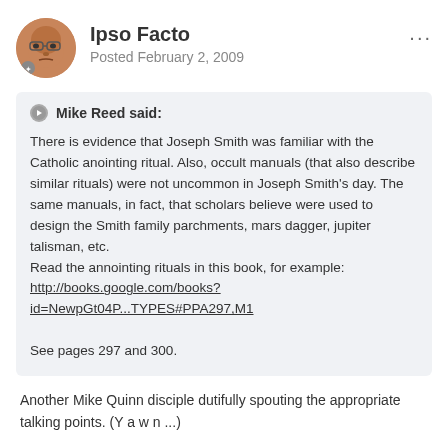Ipso Facto
Posted February 2, 2009
Mike Reed said:
There is evidence that Joseph Smith was familiar with the Catholic anointing ritual. Also, occult manuals (that also describe similar rituals) were not uncommon in Joseph Smith's day. The same manuals, in fact, that scholars believe were used to design the Smith family parchments, mars dagger, jupiter talisman, etc.
Read the annointing rituals in this book, for example:
http://books.google.com/books?id=NewpGt04P...TYPES#PPA297,M1

See pages 297 and 300.
Another Mike Quinn disciple dutifully spouting the appropriate talking points. (Y a w n ...)